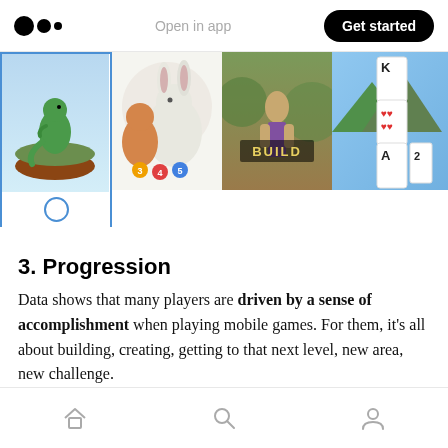Open in app  Get started
[Figure (screenshot): A horizontal carousel of four mobile game screenshots: a 3D dinosaur on a green platform (selected, with blue border and dot indicator), cartoon animals with numbered balls, a person in nature with 'BUILD' text overlay, and a card game showing K and A playing cards.]
3. Progression
Data shows that many players are driven by a sense of accomplishment when playing mobile games. For them, it’s all about building, creating, getting to that next level, new area, new challenge.
Home  Search  Profile